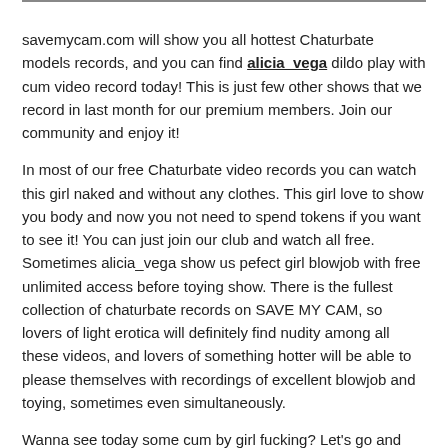savemycam.com will show you all hottest Chaturbate models records, and you can find alicia_vega dildo play with cum video record today! This is just few other shows that we record in last month for our premium members. Join our community and enjoy it!
In most of our free Chaturbate video records you can watch this girl naked and without any clothes. This girl love to show you body and now you not need to spend tokens if you want to see it! You can just join our club and watch all free. Sometimes alicia_vega show us pefect girl blowjob with free unlimited access before toying show. There is the fullest collection of chaturbate records on SAVE MY CAM, so lovers of light erotica will definitely find nudity among all these videos, and lovers of something hotter will be able to please themselves with recordings of excellent blowjob and toying, sometimes even simultaneously.
Wanna see today some cum by girl fucking? Let's go and join our community today! savemycam.com is great chaturbate video records catalog and you can find new alicia_vega dildo xxx play with full of